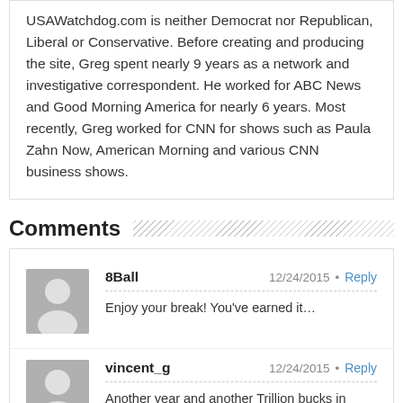USAWatchdog.com is neither Democrat nor Republican, Liberal or Conservative. Before creating and producing the site, Greg spent nearly 9 years as a network and investigative correspondent. He worked for ABC News and Good Morning America for nearly 6 years. Most recently, Greg worked for CNN for shows such as Paula Zahn Now, American Morning and various CNN business shows.
Comments
8Ball — 12/24/2015 • Reply
Enjoy your break! You've earned it…
vincent_g — 12/24/2015 • Reply
Another year and another Trillion bucks in debt.